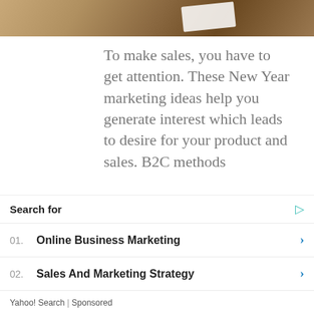[Figure (photo): Partial photo of an object on a wooden surface, cropped at top of page]
To make sales, you have to get attention. These New Year marketing ideas help you generate interest which leads to desire for your product and sales. B2C methods
Continue reading...
December 27, 2021
in Digital Marketing strategy by Janice Wald
Search for
01.  Online Business Marketing
02.  Sales And Marketing Strategy
Yahoo! Search | Sponsored